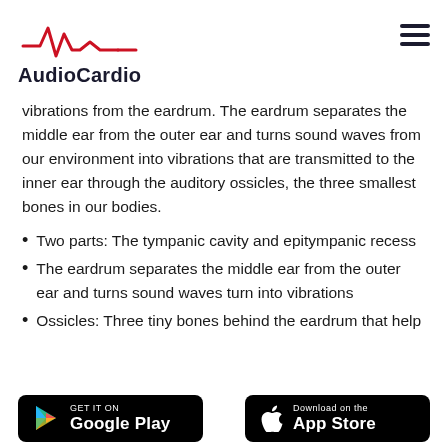[Figure (logo): AudioCardio logo with red heartbeat waveline and bold dark text 'AudioCardio']
vibrations from the eardrum. The eardrum separates the middle ear from the outer ear and turns sound waves from our environment into vibrations that are transmitted to the inner ear through the auditory ossicles, the three smallest bones in our bodies.
Two parts: The tympanic cavity and epitympanic recess
The eardrum separates the middle ear from the outer ear and turns sound waves turn into vibrations
Ossicles: Three tiny bones behind the eardrum that help send vibration to the inner ear
GET IT ON Google Play | Download on the App Store